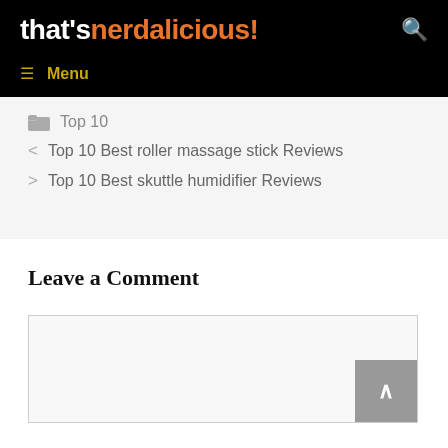that's nerdalicious!
Menu
Top 10
< Top 10 Best roller massage stick Reviews
> Top 10 Best skuttle humidifier Reviews
Leave a Comment